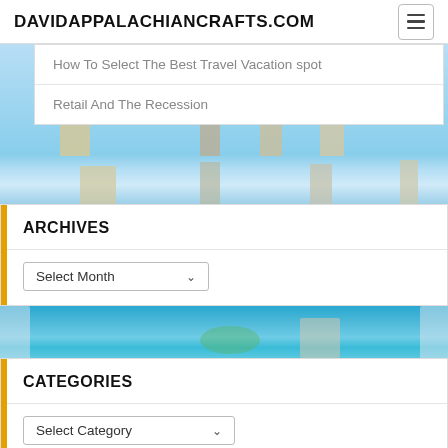DAVIDAPPALACHIANCRAFTS.COM
How To Select The Best Travel Vacation spot
Retail And The Recession
[Figure (photo): Travel themed decorative image with landmarks and blue sky]
ARCHIVES
Select Month (dropdown)
[Figure (photo): Travel themed decorative image with ocean and landmarks]
CATEGORIES
Select Category (dropdown)